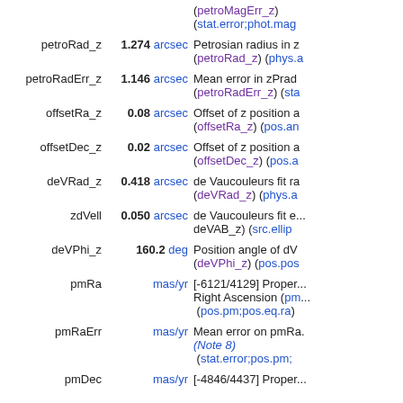| Field | Value/Unit | Description |
| --- | --- | --- |
|  | (petroMagErr_z) | (stat.error;phot.mag) |
| petroRad_z | 1.274 arcsec | Petrosian radius in z (petroRad_z) (phys.a...) |
| petroRadErr_z | 1.146 arcsec | Mean error in zPrad (petroRadErr_z) (sta...) |
| offsetRa_z | 0.08 arcsec | Offset of z position a (offsetRa_z) (pos.an...) |
| offsetDec_z | 0.02 arcsec | Offset of z position a (offsetDec_z) (pos.a...) |
| deVRad_z | 0.418 arcsec | de Vaucouleurs fit ra (deVRad_z) (phys.a...) |
| zdVell | 0.050 arcsec | de Vaucouleurs fit e... deVAB_z) (src.ellip...) |
| deVPhi_z | 160.2 deg | Position angle of dV (deVPhi_z) (pos.pos...) |
| pmRa | mas/yr | [-6121/4129] Proper... Right Ascension (pm... (pos.pm;pos.eq.ra) |
| pmRaErr | mas/yr | Mean error on pmRa. (Note 8) (stat.error;pos.pm;...) |
| pmDec | mas/yr | [-4846/4437] Proper... |